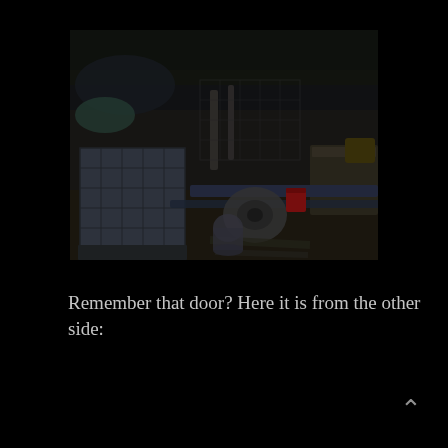[Figure (photo): Outdoor photo of an industrial/construction yard in dim lighting showing an IBC tote (large cage container), spools, pipes, a red bucket, and various equipment on pallets, with bare trees in the background]
Remember that door? Here it is from the other side: